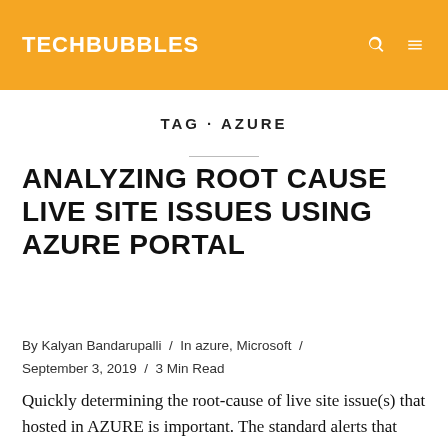TECHBUBBLES
TAG · AZURE
ANALYZING ROOT CAUSE LIVE SITE ISSUES USING AZURE PORTAL
By Kalyan Bandarupalli / In azure, Microsoft / September 3, 2019 / 3 Min Read
Quickly determining the root-cause of live site issue(s) that hosted in AZURE is important. The standard alerts that you setup in monitoring